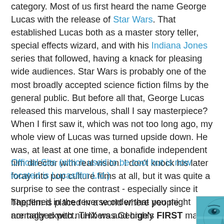category. Most of us first heard the name George Lucas with the release of Star Wars. That established Lucas both as a master story teller, special effects wizard, and with his Indiana Jones series that followed, having a knack for pleasing wide audiences. Star Wars is probably one of the most broadly accepted science fiction films by the general public. But before all that, George Lucas released this marvelous, shall I say masterpiece? When I first saw it, which was not too long ago, my whole view of Lucas was turned upside down. He was, at least at one time, a bonafide independent film director with real vision. I don't knock his later foray into pop culture films at all, but it was quite a surprise to see the contrast - especially since it happened in the reverse order that you might normally expect. THX was George's FIRST major release.
Official Site (which used to be cool but is now located is Lucasfilm Ltd.)
The film is placed in a world where people are tagged with numbers and highly monitored and controlled via drugs and
[Figure (photo): A blue-tinted close-up photo of a human face, eyes visible]